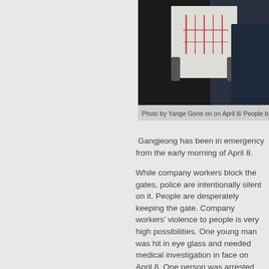[Figure (photo): People holding a sign at a protest, partially visible, dark background]
Photo by Yange Gone on on April 8/ People blocking
Gangjeong has been in emergency from the early morning of April 8.
While company workers block the gates, police are intentionally silent on it. People are desperately keeping the gate. Company workers' violence to people is very high possibilities. One young man was hit in eye glass and needed medical investigation in face on April 8. One person was arrested on the same day.
It was from the early morning of April 8, Monday, that such change in situation happened in front of the naval base construction sites in the village. During the conflicts between the people and construction company workers, Mr. Bae Gi-